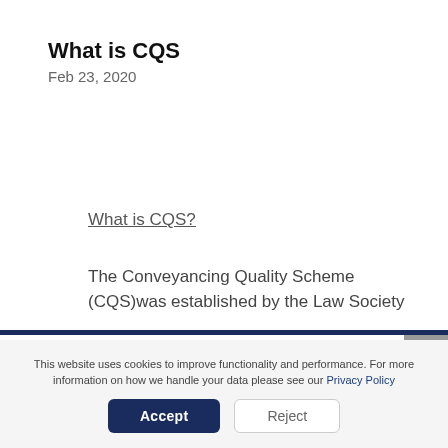What is CQS
Feb 23, 2020
What is CQS?
The Conveyancing Quality Scheme (CQS)was established by the Law Society
This website uses cookies to improve functionality and performance. For more information on how we handle your data please see our Privacy Policy